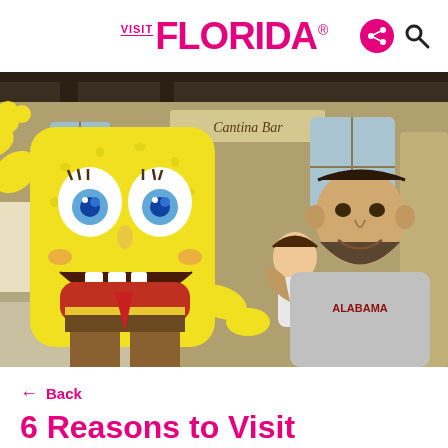VISIT FLORIDA
[Figure (photo): A man holding a young girl posing with a large SpongeBob SquarePants character costume inside what appears to be a restaurant or attraction venue. The man is wearing a gray Alabama t-shirt. A sign reading 'Cantina Bar' is visible in the background.]
← Back
6 Reasons to Visit